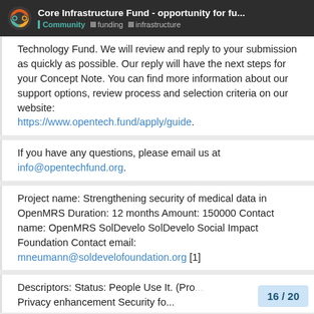Core Infrastructure Fund - opportunity for fu... | Community | funding | infrastructure
Technology Fund. We will review and reply to your submission as quickly as possible. Our reply will have the next steps for your Concept Note. You can find more information about our support options, review process and selection criteria on our website: https://www.opentech.fund/apply/guide.
If you have any questions, please email us at info@opentechfund.org.
Project name: Strengthening security of medical data in OpenMRS Duration: 12 months Amount: 150000 Contact name: OpenMRS SolDevelo SolDevelo Social Impact Foundation Contact email: mneumann@soldevelofoundation.org [1]
Descriptors: Status: People Use It. (Pro... Privacy enhancement Security fo...
16 / 20